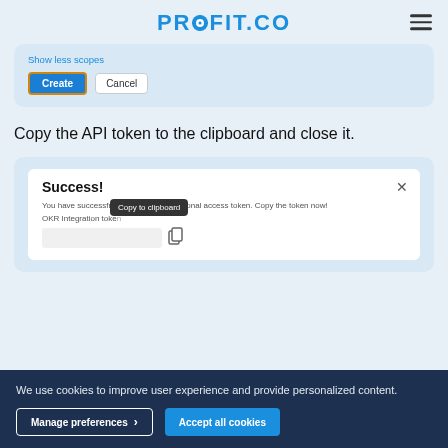PROFIT.CO
[Figure (screenshot): Screenshot showing 'Show less scopes' link with Create and Cancel buttons, Create button highlighted with orange border]
Copy the API token to the clipboard and close it.
[Figure (screenshot): Screenshot of a Success modal: 'You have successfully added a new personal access token. Copy the token now! OKR Integration token' with a blurred token input and a 'Copy to clipboard' tooltip visible]
We use cookies to improve user experience and provide personalized content.
Manage preferences >
Accept all cookies